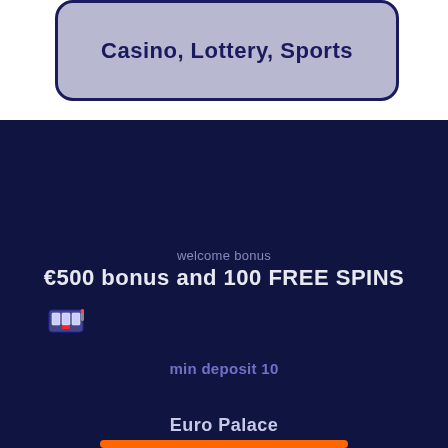[Figure (screenshot): Card/phone UI element showing 'Casino, Lottery, Sports' text on a purple/grey rounded rectangle with dark border]
welcome bonus
€500 bonus and 100 FREE SPINS
[Figure (illustration): Small slot machine icon]
min deposit 10
Euro Palace